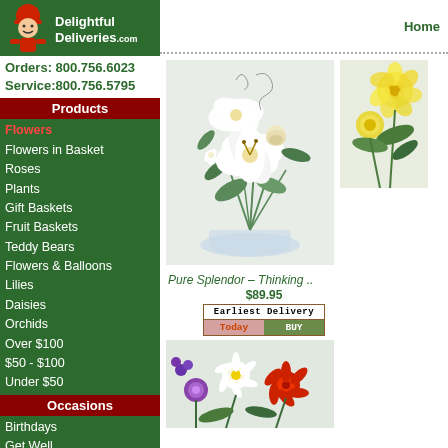[Figure (logo): Delightful Deliveries logo with cartoon delivery person]
Orders: 800.756.6023
Service:800.756.5795
Products
Flowers
Flowers in Basket
Roses
Plants
Gift Baskets
Fruit Baskets
Teddy Bears
Flowers & Balloons
Lilies
Daisies
Orchids
Over $100
$50 - $100
Under $50
Occasions
Birthdays
Get Well
Thinking of You
Anniversary
Thank You
Home
[Figure (photo): White lilies and roses floral arrangement in glass vase]
[Figure (photo): Yellow roses floral arrangement]
Pure Splendor – Thinking ..
$89.95
[Figure (other): Earliest Delivery Today BUY button]
[Figure (photo): Mixed colorful floral arrangement at bottom]